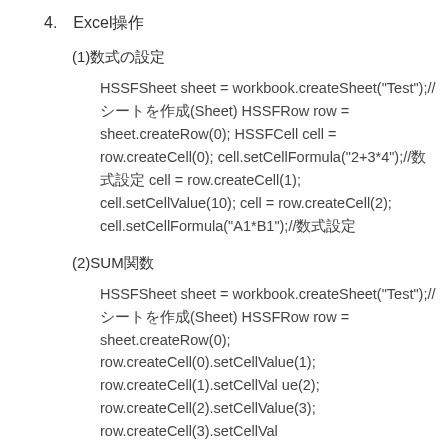4.　Excel操作
(1)数式の設定
HSSFSheet sheet = workbook.createSheet("Test");// シートを作成(Sheet) HSSFRow row = sheet.createRow(0); HSSFCell cell = row.createCell(0); cell.setCellFormula("2+3*4");//数式設定 cell = row.createCell(1); cell.setCellValue(10); cell = row.createCell(2); cell.setCellFormula("A1*B1");//数式設定
(2)SUM関数
HSSFSheet sheet = workbook.createSheet("Test");// シートを作成(Sheet) HSSFRow row = sheet.createRow(0); row.createCell(0).setCellValue(1); row.createCell(1).setCellValue(2) row.createCell(2).setCellValue(3) row.createCell(3).setCellValue(4)